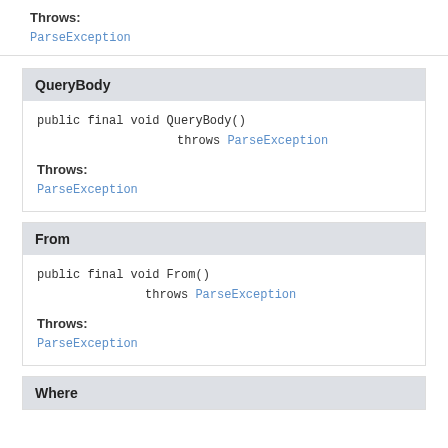Throws:
ParseException
QueryBody
public final void QueryBody()
                    throws ParseException
Throws:
ParseException
From
public final void From()
                throws ParseException
Throws:
ParseException
Where